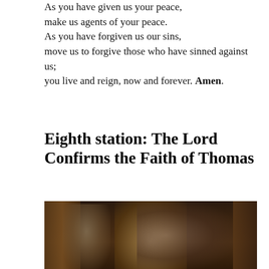As you have given us your peace, make us agents of your peace. As you have forgiven us our sins, move us to forgive those who have sinned against us; you live and reign, now and forever. Amen.
Eighth station: The Lord Confirms the Faith of Thomas
[Figure (photo): A religious painting depicting a crowd of figures in robes gathered together, likely representing the scene of Christ confirming Thomas's faith. The scene is painted in dark, warm tones with draped curtains in the background.]